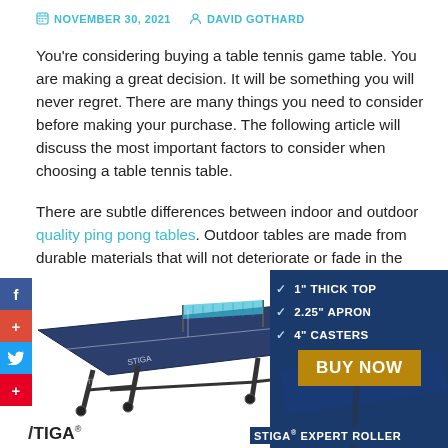NOVEMBER 30, 2021   DAVID GOTHARD
You're considering buying a table tennis game table. You are making a great decision. It will be something you will never regret. There are many things you need to consider before making your purchase. The following article will discuss the most important factors to consider when choosing a table tennis table.
There are subtle differences between indoor and outdoor quality ping pong tables. Outdoor tables are made from durable materials that will not deteriorate or fade in the elements. If the table is going to be used outdoors, it should not be stored in a garage or shed.
[Figure (photo): STIGA Expert Roller table tennis table with blue top and net, alongside a product advertisement panel showing '1" THICK TOP', '2.25" APRON', '4" CASTERS' specs and a BUY NOW button. STIGA logo and 'STIGA® EXPERT ROLLER' text visible.]